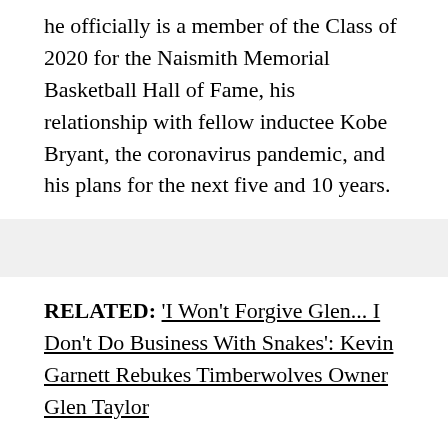he officially is a member of the Class of 2020 for the Naismith Memorial Basketball Hall of Fame, his relationship with fellow inductee Kobe Bryant, the coronavirus pandemic, and his plans for the next five and 10 years.
RELATED: 'I Won't Forgive Glen... I Don't Do Business With Snakes': Kevin Garnett Rebukes Timberwolves Owner Glen Taylor
But there was also a surprise: Garnett revealed a deep affinity for Seattle, to the point where he said he'd like to see the NBA return to that city – and said he would bring a team there if he could.